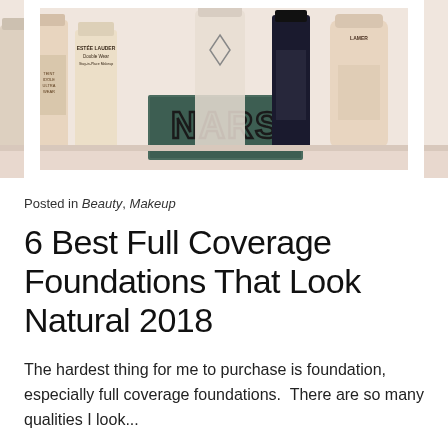[Figure (photo): Photo of multiple foundation bottles from various brands including NARS, Estee Lauder Double Wear, and others arranged together on a white surface.]
Posted in Beauty, Makeup
6 Best Full Coverage Foundations That Look Natural 2018
The hardest thing for me to purchase is foundation, especially full coverage foundations.  There are so many qualities I look...